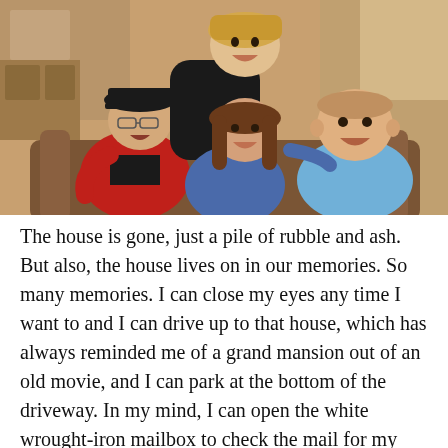[Figure (photo): A family photo showing four people sitting/posing together on a couch in a living room. An older person wearing a black cap and red sweatshirt sits on the left, a tall person stands behind leaning in, a woman with long hair in a blue jacket is in the center, and a man in a light blue t-shirt is on the right. They are all smiling.]
The house is gone, just a pile of rubble and ash. But also, the house lives on in our memories. So many memories. I can close my eyes any time I want to and I can drive up to that house, which has always reminded me of a grand mansion out of an old movie, and I can park at the bottom of the driveway. In my mind, I can open the white wrought-iron mailbox to check the mail for my Grampa so he…